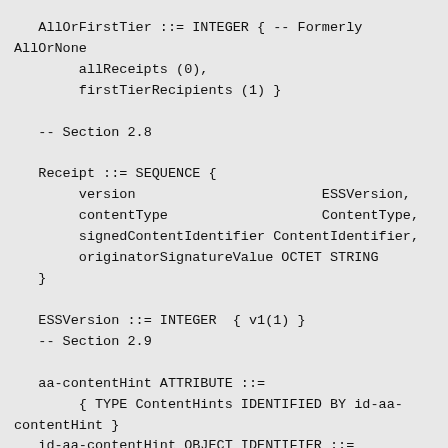AllOrFirstTier ::= INTEGER { -- Formerly AllOrNone
        allReceipts (0),
        firstTierRecipients (1) }

   -- Section 2.8

   Receipt ::= SEQUENCE {
        version                       ESSVersion,
        contentType                   ContentType,
        signedContentIdentifier ContentIdentifier,
        originatorSignatureValue OCTET STRING
   }

   ESSVersion ::= INTEGER  { v1(1) }
   -- Section 2.9

   aa-contentHint ATTRIBUTE ::=
        { TYPE ContentHints IDENTIFIED BY id-aa-contentHint }
   id-aa-contentHint OBJECT IDENTIFIER ::=